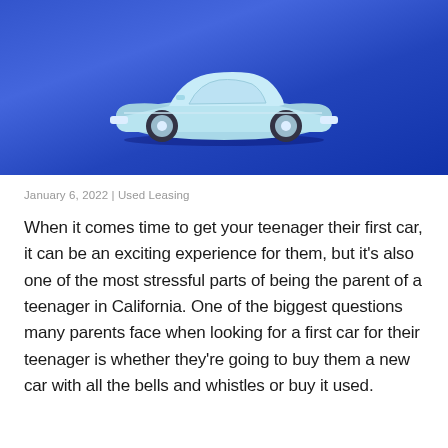[Figure (photo): A light blue classic convertible toy car photographed on a vibrant blue background, centered in the upper portion of the image.]
January 6, 2022 | Used Leasing
When it comes time to get your teenager their first car, it can be an exciting experience for them, but it’s also one of the most stressful parts of being the parent of a teenager in California. One of the biggest questions many parents face when looking for a first car for their teenager is whether they’re going to buy them a new car with all the bells and whistles or buy it used.